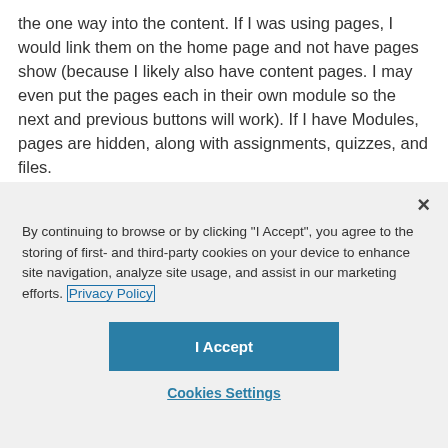the one way into the content.  If I was using pages, I would link them on the home page and not have pages show (because I likely also have content pages.  I may even put the pages each in their own module so the next and previous buttons will work).  If I have Modules, pages are hidden, along with assignments, quizzes, and files.
[Figure (screenshot): Cookie consent dialog overlay with close button (×), descriptive text about cookie usage with a 'Privacy Policy' link, an 'I Accept' button, and a 'Cookies Settings' link below.]